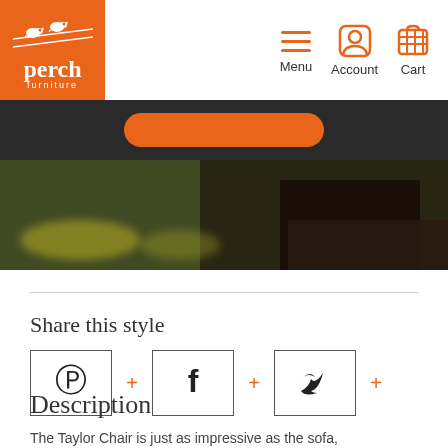[Figure (logo): Perch Furniture logo: orange square with two white birds on a wire and text 'perch furniture']
[Figure (infographic): Navigation icons: hamburger menu, account person icon, shopping cart icon with labels Menu, Account, Cart]
[Figure (photo): Banner area with dark background, orange rounded button, and blurred photo of furniture/chairs]
Share this style
[Figure (infographic): Three social share buttons for Pinterest, Facebook, and Twitter with orange plus signs between them]
Description
The Taylor Chair is just as impressive as the sofa,